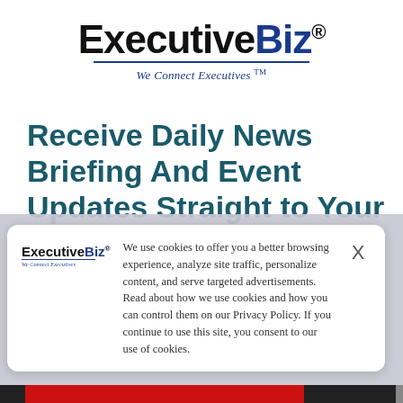[Figure (logo): ExecutiveBiz logo with tagline 'We Connect Executives TM']
Receive Daily News Briefing And Event Updates Straight to Your Inbox
We use cookies to offer you a better browsing experience, analyze site traffic, personalize content, and serve targeted advertisements. Read about how we use cookies and how you can control them on our Privacy Policy. If you continue to use this site, you consent to our use of cookies.